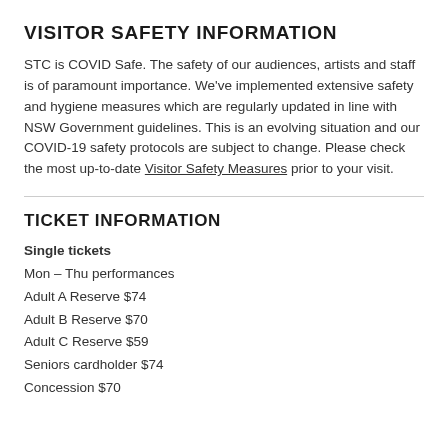VISITOR SAFETY INFORMATION
STC is COVID Safe. The safety of our audiences, artists and staff is of paramount importance. We've implemented extensive safety and hygiene measures which are regularly updated in line with NSW Government guidelines. This is an evolving situation and our COVID-19 safety protocols are subject to change. Please check the most up-to-date Visitor Safety Measures prior to your visit.
TICKET INFORMATION
Single tickets
Mon – Thu performances
Adult A Reserve $74
Adult B Reserve $70
Adult C Reserve $59
Seniors cardholder $74
Concession $70